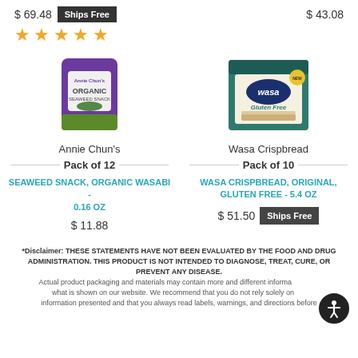$ 69.48  Ships Free
$ 43.08
[Figure (other): Five yellow star rating icons]
[Figure (photo): Annie Chun's Organic Seaweed Snack product package, purple and green bag]
[Figure (photo): Wasa Crispbread Gluten Free product box, teal and cream colored]
Annie Chun's
Wasa Crispbread
Pack of 12
Pack of 10
SEAWEED SNACK, ORGANIC WASABI - 0.16 OZ
WASA CRISPBREAD, ORIGINAL, GLUTEN FREE - 5.4 OZ
$ 11.88
$ 51.50  Ships Free
*Disclaimer: THESE STATEMENTS HAVE NOT BEEN EVALUATED BY THE FOOD AND DRUG ADMINISTRATION. THIS PRODUCT IS NOT INTENDED TO DIAGNOSE, TREAT, CURE, OR PREVENT ANY DISEASE. Actual product packaging and materials may contain more and different information than what is shown on our website. We recommend that you do not rely solely on the information presented and that you always read labels, warnings, and directions before